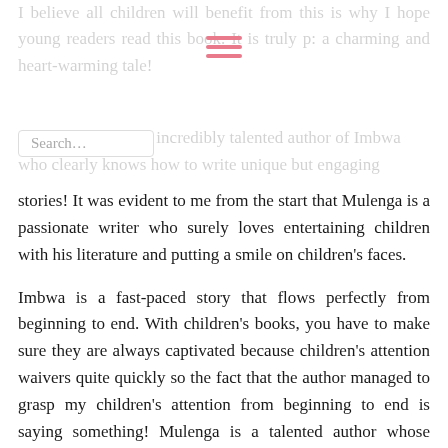I believe all children will benefit from this is why I hope young readers read this book. It is truly p: a charming and heart-warming tale!
[Figure (other): Hamburger menu icon — three horizontal pink/coral lines]
Search... is the incredibly talented author of Imbwa who clearly knows how to write unique but engaging stories! It was evident to me from the start that Mulenga is a passionate writer who surely loves entertaining children with his literature and putting a smile on children's faces.
Imbwa is a fast-paced story that flows perfectly from beginning to end. With children's books, you have to make sure they are always captivated because children's attention waivers quite quickly so the fact that the author managed to grasp my children's attention from beginning to end is saying something! Mulenga is a talented author whose children's book is simply stunning; his words leap off the page effortlessly so that this book is fast and enjoyable.